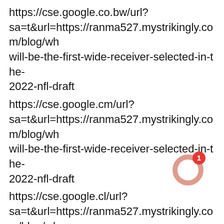https://cse.google.co.bw/url?sa=t&url=https://ranma527.mystrikingly.com/blog/wh will-be-the-first-wide-receiver-selected-in-the-2022-nfl-draft
https://cse.google.cm/url?sa=t&url=https://ranma527.mystrikingly.com/blog/wh will-be-the-first-wide-receiver-selected-in-the-2022-nfl-draft
https://cse.google.cl/url?sa=t&url=https://ranma527.mystrikingly.com/blog/wh will-be-the-first-wide-receiver-selected-in-the-2022-nfl-draft
http://toolbarqueries.google.com.gt/url?sa=t&url=https://ranma527.mystrikingly.com/blog/wh will-be-the-first-wide-receiver-selected-in-the-2022-nfl-draft